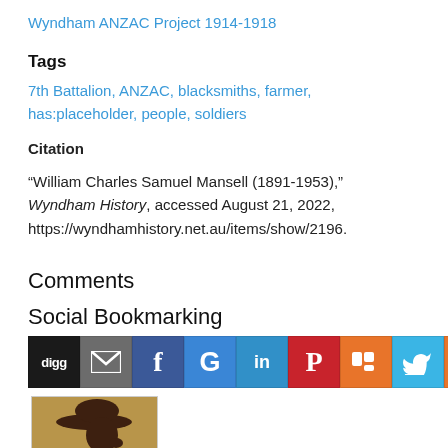Wyndham ANZAC Project 1914-1918
Tags
7th Battalion, ANZAC, blacksmiths, farmer, has:placeholder, people, soldiers
Citation
“William Charles Samuel Mansell (1891-1953),” Wyndham History, accessed August 21, 2022, https://wyndhamhistory.net.au/items/show/2196.
Comments
Social Bookmarking
[Figure (infographic): Social bookmarking icon buttons: digg, email, Facebook, Google+, LinkedIn, Pinterest, Mix, Twitter, and a More (+) button]
[Figure (photo): Silhouette photo of a person wearing a wide-brimmed hat, viewed from the side]